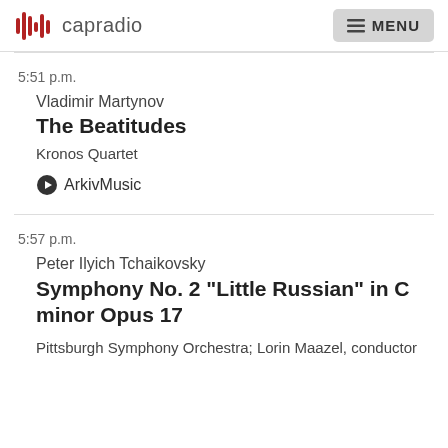capradio  MENU
5:51 p.m.
Vladimir Martynov
The Beatitudes
Kronos Quartet
ArkivMusic
5:57 p.m.
Peter Ilyich Tchaikovsky
Symphony No. 2 "Little Russian" in C minor Opus 17
Pittsburgh Symphony Orchestra; Lorin Maazel, conductor